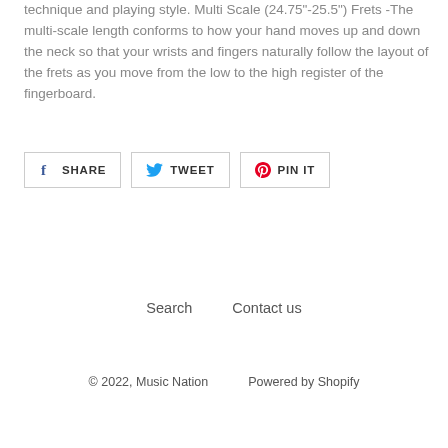technique and playing style. Multi Scale (24.75"-25.5") Frets -The multi-scale length conforms to how your hand moves up and down the neck so that your wrists and fingers naturally follow the layout of the frets as you move from the low to the high register of the fingerboard.
[Figure (other): Social sharing buttons: SHARE (Facebook), TWEET (Twitter), PIN IT (Pinterest)]
Search   Contact us
© 2022, Music Nation      Powered by Shopify